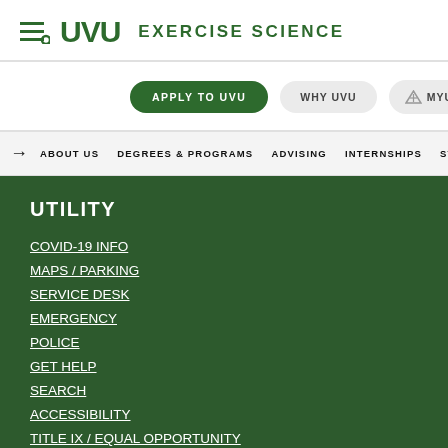UVU EXERCISE SCIENCE
APPLY TO UVU
WHY UVU
MYUVU
ABOUT US | DEGREES & PROGRAMS | ADVISING | INTERNSHIPS | ST...
UTILITY
COVID-19 INFO
MAPS / PARKING
SERVICE DESK
EMERGENCY
POLICE
GET HELP
SEARCH
ACCESSIBILITY
TITLE IX / EQUAL OPPORTUNITY